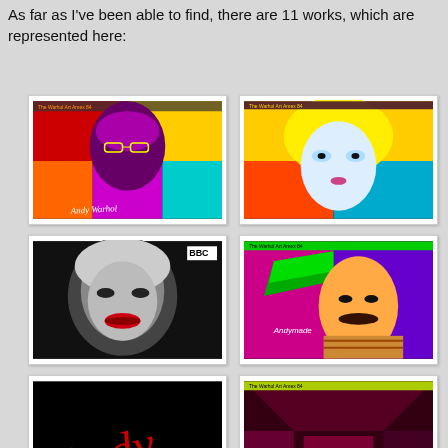As far as I've been able to find, there are 11 works, which are represented here:
[Figure (photo): Pop art style portrait of Andy Warhol with magenta and yellow tones, with cursive 'Andy Warhol' signature, on black background with white frame]
[Figure (photo): Pop art style portrait of a blonde woman (Debbie Harry) with cyan, yellow and red tones on black background]
[Figure (photo): Black and white portrait of Marilyn Monroe with red lips, dark dramatic style, with BBC logo watermark, white frame]
[Figure (photo): Pop art portrait of a man with mustache in magenta and purple tones with green stripe, with 'Andy made it?' text, black background]
[Figure (photo): Black background with red cursive Andy Warhol signature, partially visible, white frame]
[Figure (photo): Dark reddish room interior with geometric shapes and small text/labels visible, black background with yellow-green bar at top]